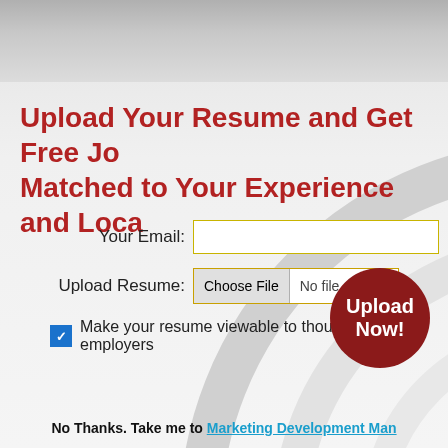Upload Your Resume and Get Free Jobs Matched to Your Experience and Location
Your Email:
Upload Resume: Choose File No file chosen
Make your resume viewable to thousands of employers
[Figure (illustration): Dark red circle button with white bold text reading 'Upload Now!']
No Thanks. Take me to Marketing Development Manager